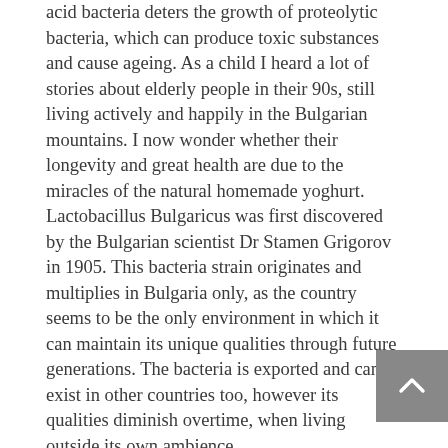acid bacteria deters the growth of proteolytic bacteria, which can produce toxic substances and cause ageing. As a child I heard a lot of stories about elderly people in their 90s, still living actively and happily in the Bulgarian mountains. I now wonder whether their longevity and great health are due to the miracles of the natural homemade yoghurt. Lactobacillus Bulgaricus was first discovered by the Bulgarian scientist Dr Stamen Grigorov in 1905. This bacteria strain originates and multiplies in Bulgaria only, as the country seems to be the only environment in which it can maintain its unique qualities through future generations. The bacteria is exported and can exist in other countries too, however its qualities diminish overtime, when living outside its own ambience.
Bulgarian yoghurt is a great addition to a healthy and sustainable diet. We love it with porridge oats, some